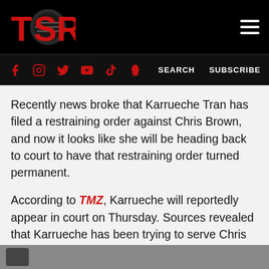[Figure (logo): TSR logo in red on black background with circular graphic element]
Social media icons (Facebook, Instagram, Twitter, YouTube, TikTok, Snapchat) and SEARCH / SUBSCRIBE links
Recently news broke that Karrueche Tran has filed a restraining order against Chris Brown, and now it looks like she will be heading back to court to have that restraining order turned permanent.
According to TMZ, Karrueche will reportedly appear in court on Thursday. Sources revealed that Karrueche has been trying to serve Chris with the temporary restraining order that she got last month, but he has avoided the service the last three times.
[Figure (photo): Bottom strip of an image, partially visible, grey toned]